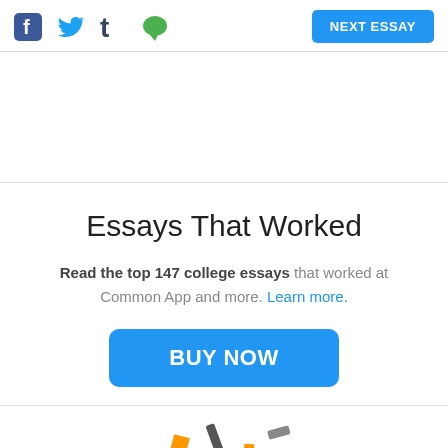Social share icons (Facebook, Twitter, Tumblr, Message) and NEXT ESSAY button
Essays That Worked
Read the top 147 college essays that worked at Common App and more. Learn more.
BUY NOW